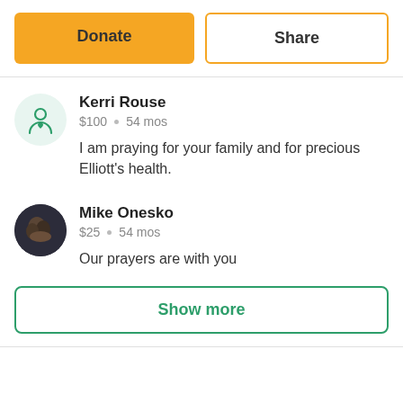[Figure (other): Two buttons side by side: orange 'Donate' button on the left, white 'Share' button with orange border on the right]
Kerri Rouse
$100 • 54 mos
I am praying for your family and for precious Elliott's health.
Mike Onesko
$25 • 54 mos
Our prayers are with you
Show more